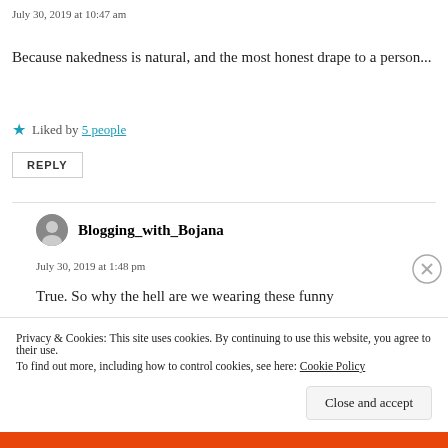July 30, 2019 at 10:47 am
Because nakedness is natural, and the most honest drape to a person...
★ Liked by 5 people
REPLY
Blogging_with_Bojana
July 30, 2019 at 1:48 pm
True. So why the hell are we wearing these funny
Privacy & Cookies: This site uses cookies. By continuing to use this website, you agree to their use. To find out more, including how to control cookies, see here: Cookie Policy
Close and accept